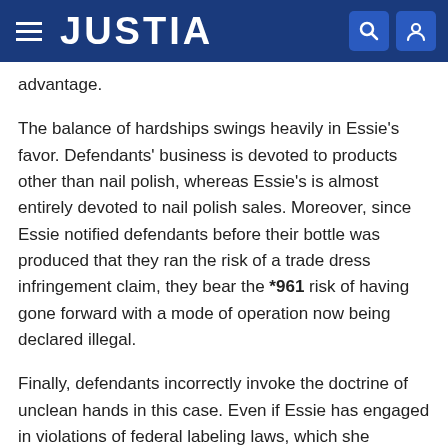JUSTIA
advantage.
The balance of hardships swings heavily in Essie's favor. Defendants' business is devoted to products other than nail polish, whereas Essie's is almost entirely devoted to nail polish sales. Moreover, since Essie notified defendants before their bottle was produced that they ran the risk of a trade dress infringement claim, they bear the *961 risk of having gone forward with a mode of operation now being declared illegal.
Finally, defendants incorrectly invoke the doctrine of unclean hands in this case. Even if Essie has engaged in violations of federal labeling laws, which she vigorously denies, it would not serve as a bar to her invoking her valuable rights under the Lanham Act.